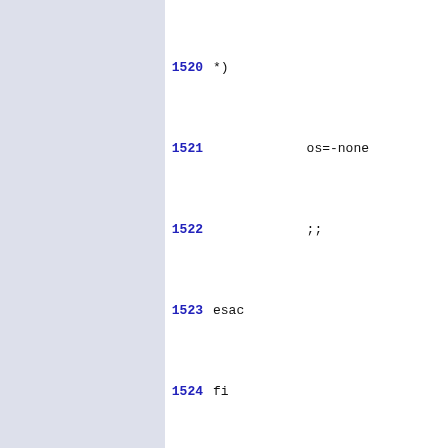Code listing lines 1520-1535 showing shell script fragment with case statement handling os and vendor detection
1520    *)
1521                os=-none
1522                ;;
1523    esac
1524    fi
1525
1526    # Here we handle the case whe
1527    # manufacturer.  We pick the
1528    vendor=unknown
1529    case $basic_machine in
1530      *-unknown)
1531                case $os in
1532                        -riscix*)
1533                                vend
1534                                ;;
1535                        -sunos*)